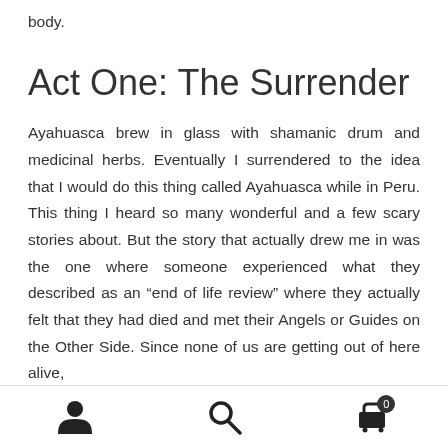body.
Act One: The Surrender
Ayahuasca brew in glass with shamanic drum and medicinal herbs. Eventually I surrendered to the idea that I would do this thing called Ayahuasca while in Peru. This thing I heard so many wonderful and a few scary stories about. But the story that actually drew me in was the one where someone experienced what they described as an “end of life review” where they actually felt that they had died and met their Angels or Guides on the Other Side. Since none of us are getting out of here alive,
Navigation footer with person, search, and cart icons